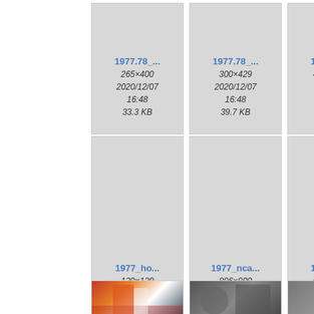[Figure (screenshot): File manager/media gallery screenshot showing image thumbnails in a grid. Row 1: two visible cards (1977.78_... 265x400, 33.3 KB, 2020/12/07 16:48; 1977.78_... 300x429, 39.7 KB, 2020/12/07 16:48) and partial third card. Row 2: two visible cards (1977_ho... 120x120, 6.3 KB, 2020/12/07 16:48; 1977_nca... 896x900, 339.2 KB, 2020/12/07 16:48) and partial third. Row 3: two photo thumbnails (basketball/sports photos) and partial third.]